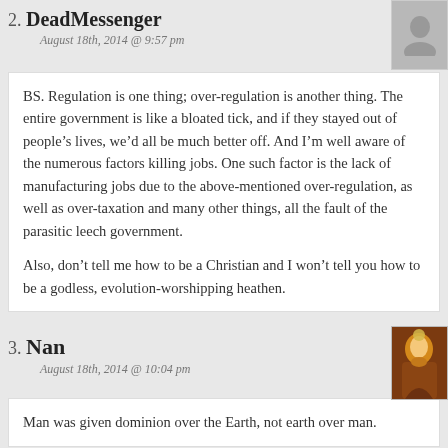2. DeadMessenger
August 18th, 2014 @ 9:57 pm
BS. Regulation is one thing; over-regulation is another thing. The entire government is like a bloated tick, and if they stayed out of people's lives, we'd all be much better off. And I'm well aware of the numerous factors killing jobs. One such factor is the lack of manufacturing jobs due to the above-mentioned over-regulation, as well as over-taxation and many other things, all the fault of the parasitic leech government.

Also, don't tell me how to be a Christian and I won't tell you how to be a godless, evolution-worshipping heathen.
3. Nan
August 18th, 2014 @ 10:04 pm
Man was given dominion over the Earth, not earth over man.
4. Nan
August 18th, 2014 @ 10:04 pm